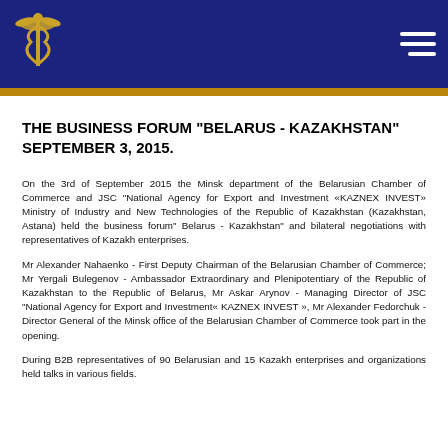Belarusian Chamber of Commerce navigation header with logo and menu icon
THE BUSINESS FORUM "BELARUS - KAZAKHSTAN" SEPTEMBER 3, 2015.
On the 3rd of September 2015 the Minsk department of the Belarusian Chamber of Commerce and JSC "National Agency for Export and Investment «KAZNEX INVEST» Ministry of Industry and New Technologies of the Republic of Kazakhstan (Kazakhstan, Astana) held the business forum" Belarus - Kazakhstan" and bilateral negotiations with representatives of Kazakh enterprises.
Mr Alexander Nahaenko - First Deputy Chairman of the Belarusian Chamber of Commerce; Mr Yergali Bulegenov - Ambassador Extraordinary and Plenipotentiary of the Republic of Kazakhstan to the Republic of Belarus, Mr Askar Arynov - Managing Director of JSC "National Agency for Export and Investment« KAZNEX INVEST », Mr Alexander Fedorchuk - Director General of the Minsk office of the Belarusian Chamber of Commerce took part in the opening.
During B2B representatives of 90 Belarusian and 15 Kazakh enterprises and organizations held talks in various fields.